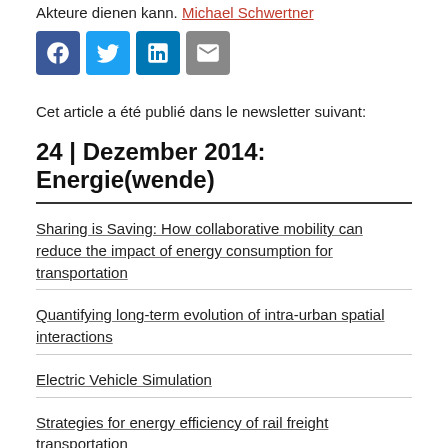Akteure dienen kann. Michael Schwertner
[Figure (other): Social media sharing icons: Facebook, Twitter, LinkedIn, Email]
Cet article a été publié dans le newsletter suivant:
24 | Dezember 2014: Energie(wende)
Sharing is Saving: How collaborative mobility can reduce the impact of energy consumption for transportation
Quantifying long-term evolution of intra-urban spatial interactions
Electric Vehicle Simulation
Strategies for energy efficiency of rail freight transportation
Visuell-akustische Simulationen zur umfassenderen Standortevaluation von Windparks
Die Rolle der Raumplanung bei der Transformation der elektrischen Energieversorgung